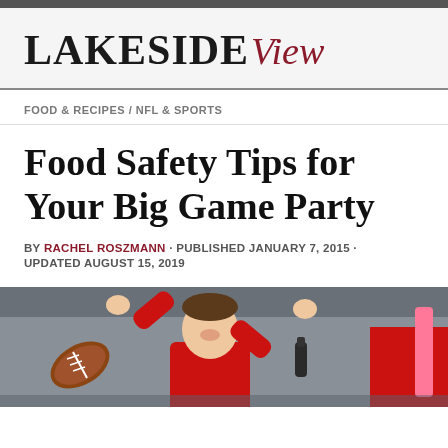LAKESIDE View
FOOD & RECIPES / NFL & SPORTS
Food Safety Tips for Your Big Game Party
BY RACHEL ROSZMANN · PUBLISHED JANUARY 7, 2015 · UPDATED AUGUST 15, 2019
[Figure (photo): Man in red shirt celebrating with arms raised, a football visible in the foreground, holding a drink; another person partially visible on the right with a pink object.]